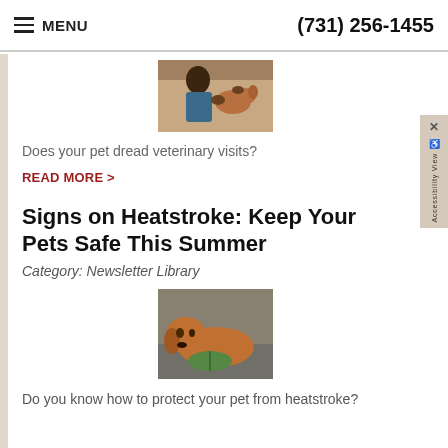MENU | (731) 256-1455
[Figure (photo): Veterinarian examining a small dog in a clinic]
Does your pet dread veterinary visits?
READ MORE >
Signs on Heatstroke: Keep Your Pets Safe This Summer
Category: Newsletter Library
[Figure (photo): A golden/brown dog lying on the ground with a green leaf]
Do you know how to protect your pet from heatstroke?